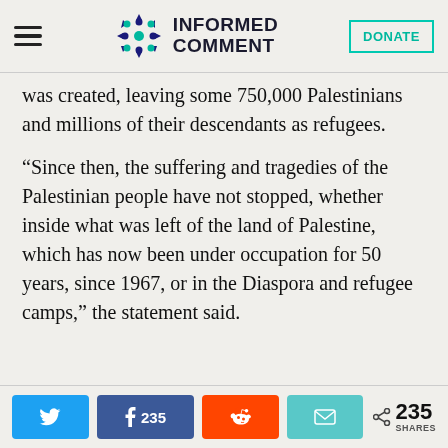Informed Comment
was created, leaving some 750,000 Palestinians and millions of their descendants as refugees.
“Since then, the suffering and tragedies of the Palestinian people have not stopped, whether inside what was left of the land of Palestine, which has now been under occupation for 50 years, since 1967, or in the Diaspora and refugee camps,” the statement said.
Share buttons: Twitter, Facebook 235, Reddit, Email | 235 SHARES